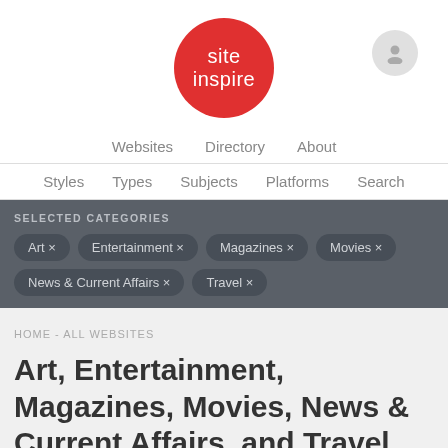[Figure (logo): SiteInspire logo — red circle with white text 'site inspire']
Websites   Directory   About
Styles   Types   Subjects   Platforms   Search
SELECTED CATEGORIES
Art ×
Entertainment ×
Magazines ×
Movies ×
News & Current Affairs ×
Travel ×
HOME - ALL WEBSITES
Art, Entertainment, Magazines, Movies, News & Current Affairs, and Travel websites